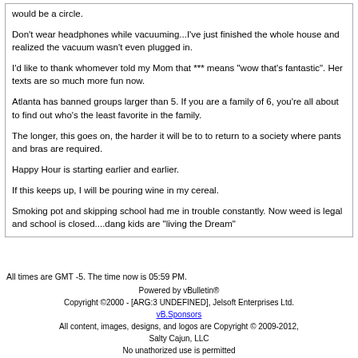would be a circle.
Don't wear headphones while vacuuming...I've just finished the whole house and realized the vacuum wasn't even plugged in.
I'd like to thank whomever told my Mom that *** means "wow that's fantastic". Her texts are so much more fun now.
Atlanta has banned groups larger than 5. If you are a family of 6, you're all about to find out who's the least favorite in the family.
The longer, this goes on, the harder it will be to to return to a society where pants and bras are required.
Happy Hour is starting earlier and earlier.
If this keeps up, I will be pouring wine in my cereal.
Smoking pot and skipping school had me in trouble constantly. Now weed is legal and school is closed....dang kids are "living the Dream"
All times are GMT -5. The time now is 05:59 PM.
Powered by vBulletin®
Copyright ©2000 - [ARG:3 UNDEFINED], Jelsoft Enterprises Ltd.
vB.Sponsors
All content, images, designs, and logos are Copyright © 2009-2012, Salty Cajun, LLC
No unathorized use is permitted